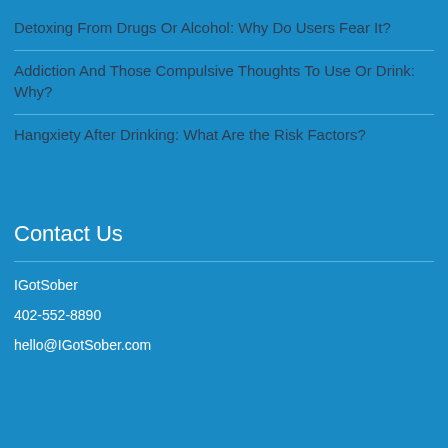Detoxing From Drugs Or Alcohol: Why Do Users Fear It?
Addiction And Those Compulsive Thoughts To Use Or Drink: Why?
Hangxiety After Drinking: What Are the Risk Factors?
Contact Us
IGotSober
402-552-8890
hello@IGotSober.com